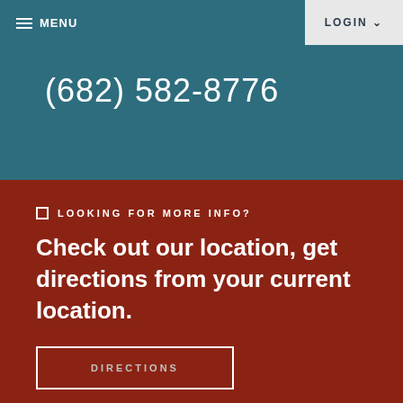MENU
LOGIN
(682) 582-8776
LOOKING FOR MORE INFO?
Check out our location, get directions from your current location.
DIRECTIONS